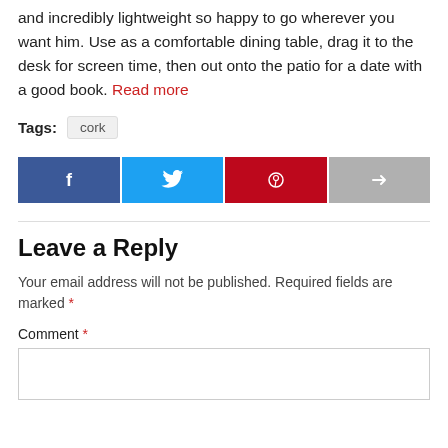and incredibly lightweight so happy to go wherever you want him. Use as a comfortable dining table, drag it to the desk for screen time, then out onto the patio for a date with a good book. Read more
Tags: cork
[Figure (other): Social share buttons: Facebook, Twitter, Pinterest, Share]
Leave a Reply
Your email address will not be published. Required fields are marked *
Comment *